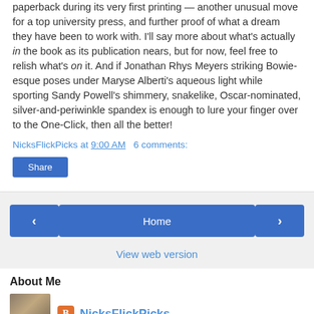paperback during its very first printing — another unusual move for a top university press, and further proof of what a dream they have been to work with. I'll say more about what's actually in the book as its publication nears, but for now, feel free to relish what's on it. And if Jonathan Rhys Meyers striking Bowie-esque poses under Maryse Alberti's aqueous light while sporting Sandy Powell's shimmery, snakelike, Oscar-nominated, silver-and-periwinkle spandex is enough to lure your finger over to the One-Click, then all the better!
NicksFlickPicks at 9:00 AM   6 comments:
Share
‹   Home   ›
View web version
About Me
NicksFlickPicks